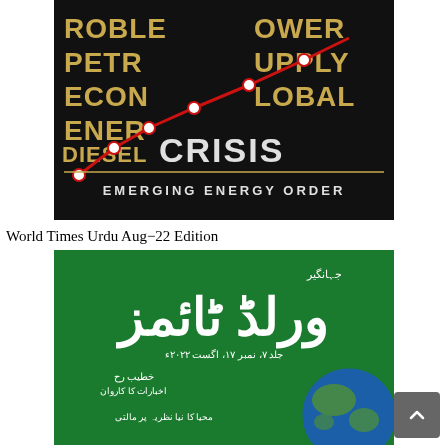[Figure (photo): Book cover for 'Global Energy Crisis / Emerging Energy Order' — dark/black background with gold and white text showing partial words: ROBLE, PETR, ECON, ENERY, DIESEL CRISIS, POWER, SUPPLY, GLOBAL, EMERGING ENERGY ORDER. A red line chart with white dot markers overlays the text.]
World Times Urdu Aug-22 Edition
[Figure (photo): Book cover for 'Jahangir World Times' Urdu edition — green background with large white Urdu/Arabic script title 'World Times', subtitle text in Urdu including date July-17 to August-17, 2022, and a globe image in the lower right corner.]